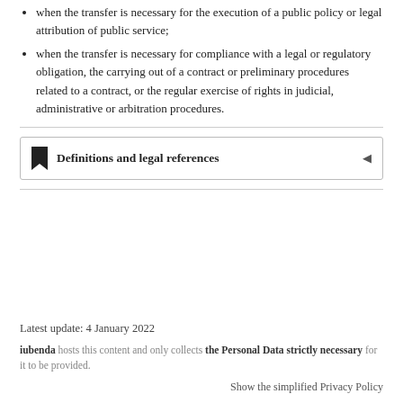when the transfer is necessary for the execution of a public policy or legal attribution of public service;
when the transfer is necessary for compliance with a legal or regulatory obligation, the carrying out of a contract or preliminary procedures related to a contract, or the regular exercise of rights in judicial, administrative or arbitration procedures.
Definitions and legal references
Latest update: 4 January 2022
iubenda hosts this content and only collects the Personal Data strictly necessary for it to be provided.
Show the simplified Privacy Policy